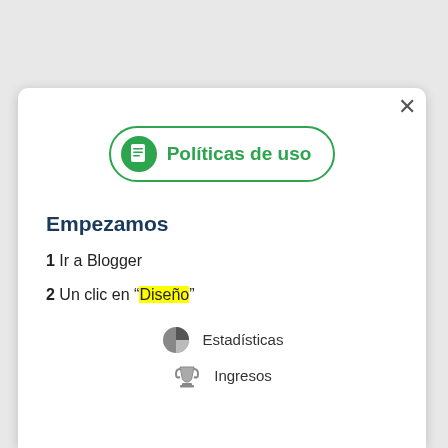[Figure (illustration): Green rounded badge/button with a document icon and text 'Políticas de uso']
Empezamos
1 Ir a Blogger
2 Un clic en "Diseño"
[Figure (illustration): Pie chart icon labeled 'Estadísticas' and trophy icon labeled 'Ingresos']